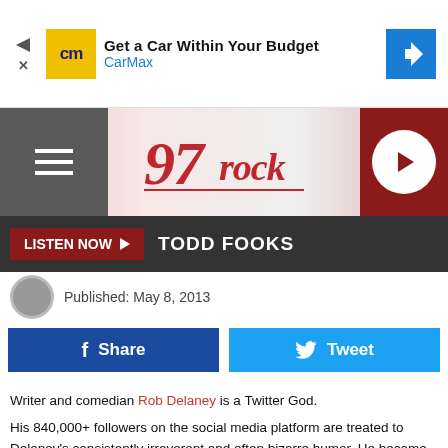[Figure (screenshot): CarMax advertisement banner with CM logo and 'Get a Car Within Your Budget' headline]
[Figure (logo): 97 Rock radio station logo in stylized red script on gradient pink/white background with hamburger menu and play button]
LISTEN NOW ▶  TODD FOOKS
Published: May 8, 2013
[Figure (screenshot): Facebook Share button (dark blue) and Twitter Tweet button (light blue) side by side]
Writer and comedian Rob Delaney is a Twitter God.

His 840,000+ followers on the social media platform are treated to Delaney's consistently irreverent and often bizarre humor. He became the first comedian to win the 'Funniest person on Twitter award' at the Comedy Central awards in 2012.